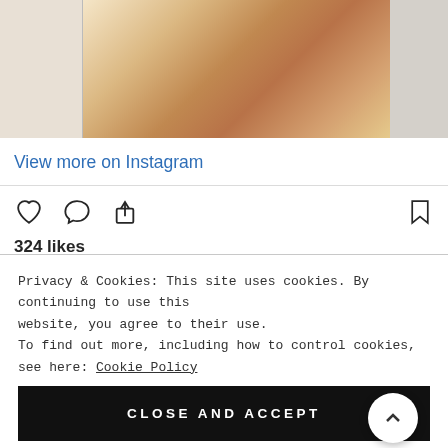[Figure (photo): A pizza in a cardboard box, partially cropped at top]
View more on Instagram
[Figure (other): Instagram action icons row: heart (like), comment bubble, share/upload, and bookmark]
324 likes
thelaurenstyle
TGIF aka Pizza FRIYAY!!! #heartpizza need I say more? What's your go to valentine's dinner of choice? Need some ideas.
view all 11 comments
Privacy & Cookies: This site uses cookies. By continuing to use this website, you agree to their use.
To find out more, including how to control cookies, see here: Cookie Policy
CLOSE AND ACCEPT